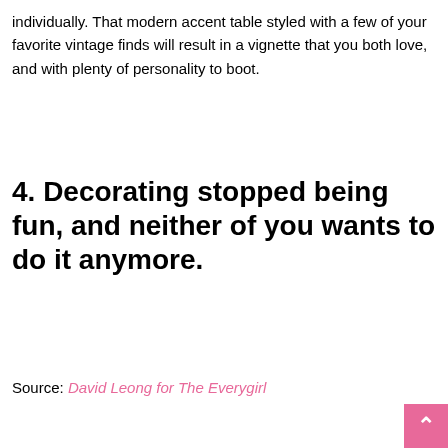individually. That modern accent table styled with a few of your favorite vintage finds will result in a vignette that you both love, and with plenty of personality to boot.
4. Decorating stopped being fun, and neither of you wants to do it anymore.
Source: David Leong for The Everygirl